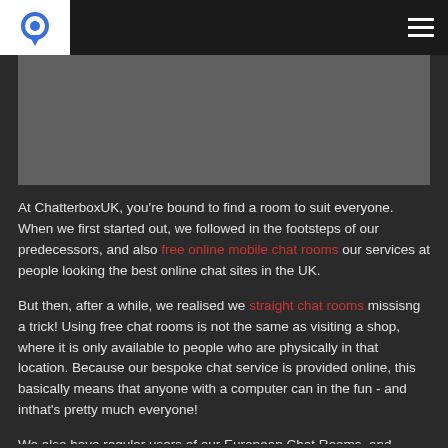ChatterboxUK logo and navigation
[Figure (other): Gray banner/advertisement placeholder area]
At ChatterboxUK, you're bound to find a room to suit everyone. When we first started out, we followed in the footsteps of our predecessors, and also free online mobile chat rooms our services at people looking the best online chat sites in the UK.
But then, after a while, we realised we straight chat rooms missisng a trick! Using free chat rooms is not the same as visiting a shop, where it is only available to people who are physically in that location. Because our bespoke chat service is provided online, this basically means that anyone with a computer can in the fun - and inthat's pretty much everyone!
We also have regular users of our European Chat Rooms, and people who come here to chat even from Australia and New Zealand!